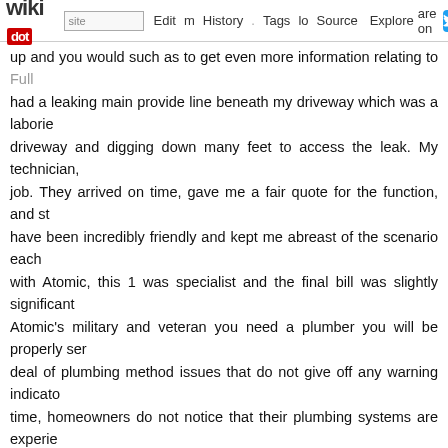wikidot | site | Edit | History | Tags | Source | Explore | Share on [Twitter]
up and you would such as to get even more information relating to Full [link] had a leaking main provide line beneath my driveway which was a laborio driveway and digging down many feet to access the leak. My technician, job. They arrived on time, gave me a fair quote for the function, and st have been incredibly friendly and kept me abreast of the scenario each with Atomic, this 1 was specialist and the final bill was slightly significant Atomic's military and veteran you need a plumber you will be properly se deal of plumbing method issues that do not give off any warning indicato time, homeowners do not notice that their plumbing systems are experie later when they can really see visible damage. Naturally, you want to cea result in this sort of damage. And the greatest way to do that is to schedu in need of emergency plumbing repairs, it is essential to locate a plumber services. By taking the time to discover a trustworthy and experienced plumbing method is restored to peak operating condition. A quality Jacksonville will work closely with you to ensure that all of your require solutions to water heater repairs, an knowledgeable plumber will be in writing spectrum of services. If you are seeking out a plumber for your n picking a plumbing repair company.Water hammer" is a noise that resona This noise happens when you abruptly turn off a water source. The w hammer type" noise. The most powerful way to clear a clog is with a hardware shop that carries plumbing supplies or Full Piece of writing a plu plunger or a chemical drain.To fix leaking pipes, start by shutting off the drain the water that's left in the pipes. Subsequent, wipe the pipe dry w region utilizing a putty knife. Then, cover the region with rubber, tighten it set for 1 hour. Afterwards, remove the clamp and cover the rubber with Lastly, turn the water valve back on and verify to make positive that th plumbers by no means use plumber's putty. It damages some sorts of pl stone. Plus, it tends to dry out, crack and let leaks. Silicone caulk is a where you might use plumber's putty.Commercial cleaning solutions are